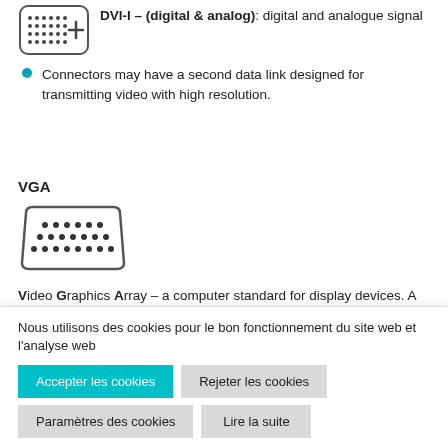[Figure (illustration): DVI connector icon — rectangular grid of dots with a cross/plus symbol, representing a DVI port]
DVI-I – (digital & analog): digital and analogue signal
Connectors may have a second data link designed for transmitting video with high resolution.
VGA
[Figure (illustration): VGA connector icon — trapezoidal shape with three rows of dots representing a VGA port]
Video Graphics Array – a computer standard for display devices. A
Nous utilisons des cookies pour le bon fonctionnement du site web et l'analyse web
Accepter les cookies | Rejeter les cookies | Paramètres des cookies | Lire la suite